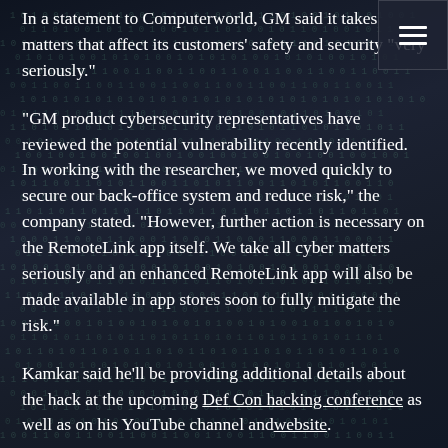In a statement to Computerworld, GM said it takes matters that affect its customers' safety and security “very seriously.”
“GM product cybersecurity representatives have reviewed the potential vulnerability recently identified. In working with the researcher, we moved quickly to secure our back-office system and reduce risk,” the company stated. “However, further action is necessary on the RemoteLink app itself. We take all cyber matters seriously and an enhanced RemoteLink app will also be made available in app stores soon to fully mitigate the risk.”
Kamkar said he’ll be providing additional details about the hack at the upcoming Def Con hacking conference as well as on his YouTube channel and website.
The OnStar RemoteLink app works with Apple iOS,